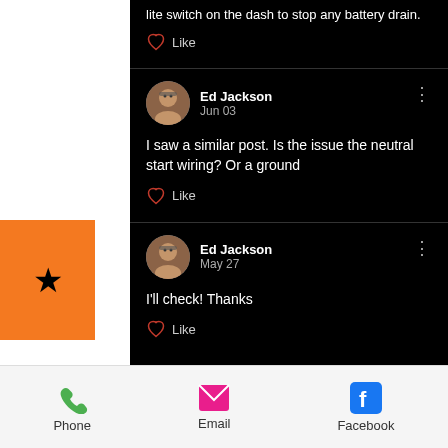lite switch on the dash to stop any battery drain.
Like
Ed Jackson
Jun 03
I saw a similar post. Is the issue the neutral start wiring? Or a ground
Like
Ed Jackson
May 27
I'll check! Thanks
Like
Phone
Email
Facebook